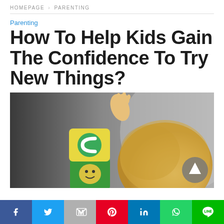HOMEPAGE › PARENTING
Parenting
How To Help Kids Gain The Confidence To Try New Things?
[Figure (photo): Young toddler with blonde hair reaching up to stack colorful toy blocks, viewed from behind, with a green block and yellow block with a green circular letter design visible.]
[Figure (infographic): Social media sharing bar with icons for Facebook, Twitter, Gmail/Mail, Pinterest, LinkedIn, WhatsApp, and LINE.]